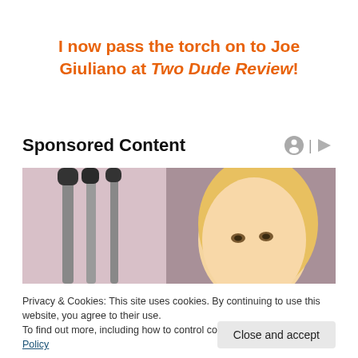I now pass the torch on to Joe Giuliano at Two Dude Review!
Sponsored Content
[Figure (photo): A blonde woman partially visible behind metal crutches or trolley handles, with a reddish-purple background]
Privacy & Cookies: This site uses cookies. By continuing to use this website, you agree to their use.
To find out more, including how to control cookies, see here: Cookie Policy
Close and accept